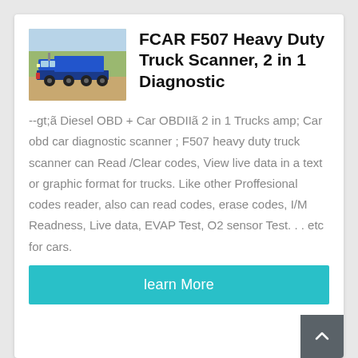[Figure (photo): Photo of a blue heavy duty dump truck on dirt ground with trees in background]
FCAR F507 Heavy Duty Truck Scanner, 2 in 1 Diagnostic
--gt;ã Diesel OBD + Car OBDIIã 2 in 1 Trucks amp; Car obd car diagnostic scanner ; F507 heavy duty truck scanner can Read /Clear codes, View live data in a text or graphic format for trucks. Like other Proffesional codes reader, also can read codes, erase codes, I/M Readness, Live data, EVAP Test, O2 sensor Test. . . etc for cars.
learn More